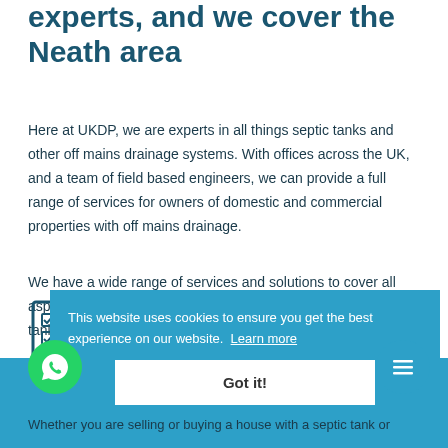experts, and we cover the Neath area
Here at UKDP, we are experts in all things septic tanks and other off mains drainage systems. With offices across the UK, and a team of field based engineers, we can provide a full range of services for owners of domestic and commercial properties with off mains drainage.
We have a wide range of services and solutions to cover all aspects of buying, selling or owning a property with a septic tank.
[Figure (screenshot): Cookie consent banner overlay in blue with text 'This website uses cookies to ensure you get the best experience on our website. Learn more' and a 'Got it!' button]
[Figure (illustration): Document checklist icon in blue/teal]
c Tank Surveys
Whether you are selling or buying a house with a septic tank or